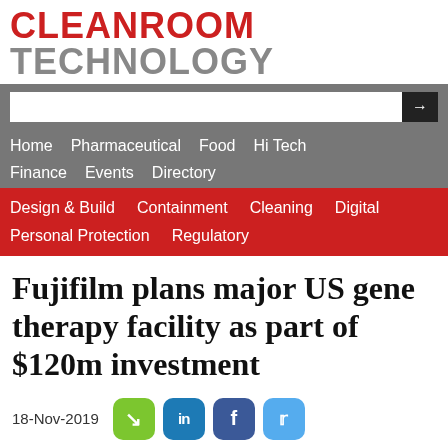CLEANROOM TECHNOLOGY
[Figure (screenshot): Navigation bar with search input, main nav links (Home, Pharmaceutical, Food, Hi Tech, Finance, Events, Directory) on gray background, and secondary nav (Design & Build, Containment, Cleaning, Digital, Personal Protection, Regulatory) on red background]
Fujifilm plans major US gene therapy facility as part of $120m investment
18-Nov-2019
Design & Build | Manufacturing | Pharmaceutical